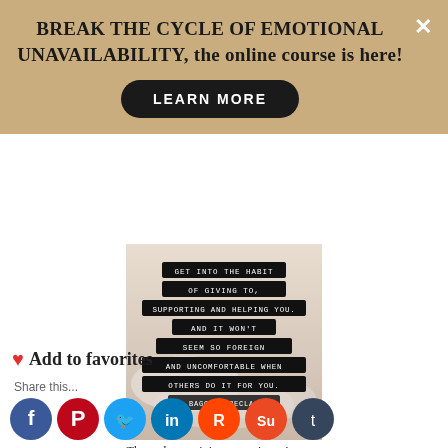BREAK THE CYCLE OF EMOTIONAL UNAVAILABILITY, the online course is here!
LEARN MORE
[Figure (photo): Inspirational quote image with dark background text overlays reading: GET INTO THE HABIT OF GIVING TO, SUPPORTING AND HELPING YOU. AND IT WON'T SEEM SO FOREIGN AND UNCOMFORTABLE WHEN OTHERS DO IT FOR YOU. -BAGGAGE RECLAIN]
The under-receiving over-giver: Are you able to receive gifts, compliments or help?
❤ Add to favorites
Share this...
[Figure (infographic): Social media sharing icons: Facebook, Pinterest, Twitter, LinkedIn, Reddit, StumbleUpon, Tumblr]